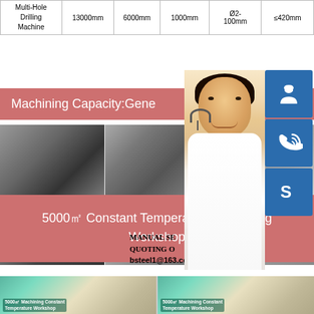|  |  |  |  |  |  |
| --- | --- | --- | --- | --- | --- |
| Multi-Hole
Drilling
Machine | 13000mm | 6000mm | 1000mm | Ø2-
100mm | ≤420mm |
Machining Capacity:Gene
[Figure (photo): Six-photo collage showing large industrial steel/metal fabrication parts and workshop scenes: cylindrical vessel, metal welding, dome structure, circular flange, large gear/wheel component, large industrial parts in workshop]
MANUAL SE
QUOTING O
bsteel1@163.com
[Figure (photo): Customer service representative (young woman with headset/microphone) with three contact icon buttons: chat/headset icon, phone icon, Skype icon]
5000㎡ Constant Temperature Machining Workshop
[Figure (photo): Two photos of 5000m² Machining Constant Temperature Workshop interior showing large industrial workshop space]